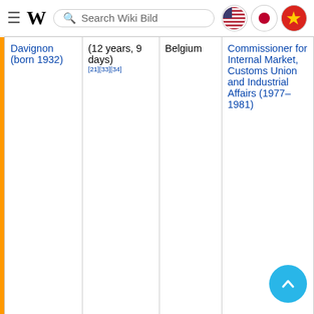Wikipedia search bar with flags (US, Japan, Vietnam)
|  | Name | Date | Country | Role |
| --- | --- | --- | --- | --- |
|  | Davignon (born 1932) | (12 years, 9 days) [21][33][34] | Belgium | Commissioner for Internal Market, Customs Union and Industrial Affairs (1977–1981) |
|  | Henri de Castries, 5th Count of Castries (born 1954) | 31 May 2012 – present (10 years, 88 days) [35] | France | Chairman and CEO of AXA (2000–2016) |